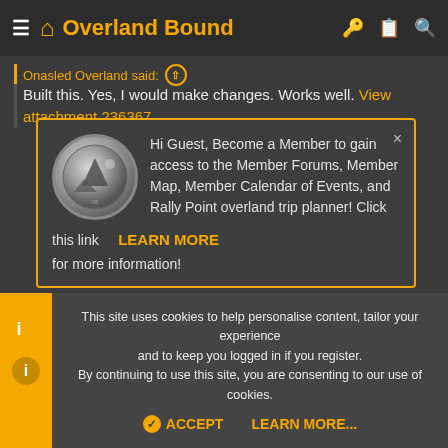Overland Bound
Onasled Overland said: ↑
Built this. Yes, I would make changes. Works well. View attachment 236367
[Figure (screenshot): Popup modal with Overland Bound badge icon. Text: Hi Guest, Become a Member to gain access to the Member Forums, Member Map, Member Calendar of Events, and Rally Point overland trip planner! Click this link LEARN MORE for more information!]
This site uses cookies to help personalise content, tailor your experience and to keep you logged in if you register. By continuing to use this site, you are consenting to our use of cookies.
ACCEPT   LEARN MORE...